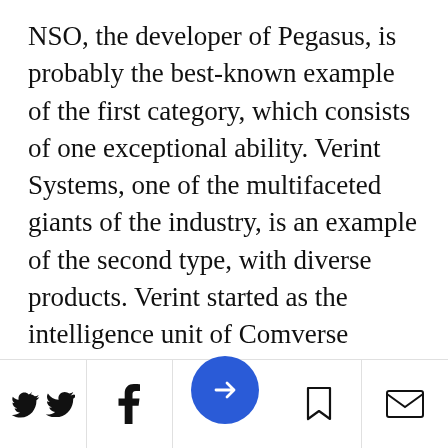NSO, the developer of Pegasus, is probably the best-known example of the first category, which consists of one exceptional ability. Verint Systems, one of the multifaceted giants of the industry, is an example of the second type, with diverse products. Verint started as the intelligence unit of Comverse Technology, which was established by Jacob “Kobi” Alexander, an American-Israeli businessman who was recently released from prison in the wake of fraud charges brought against him by the U.S. Securities and Exchange Commission. Verint subsequently… e sum way and is